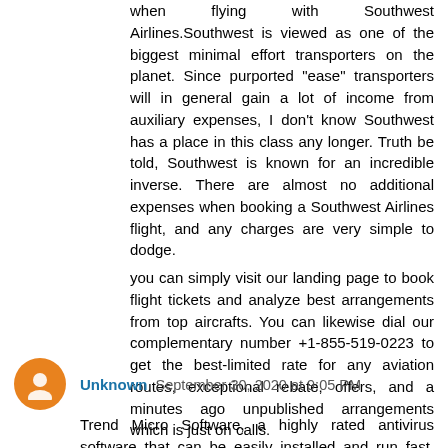when flying with Southwest Airlines.Southwest is viewed as one of the biggest minimal effort transporters on the planet. Since purported "ease" transporters will in general gain a lot of income from auxiliary expenses, I don't know Southwest has a place in this class any longer. Truth be told, Southwest is known for an incredible inverse. There are almost no additional expenses when booking a Southwest Airlines flight, and any charges are very simple to dodge.
you can simply visit our landing page to book flight tickets and analyze best arrangements from top aircrafts. You can likewise dial our complementary number +1-855-519-0223 to get the best-limited rate for any aviation routes, exceptional rebate, offers, and a minutes ago unpublished arrangements which is just on calls.
Reply
Unknown  September 30, 2020 at 9:05 PM
Trend Micro Software, a highly rated antivirus software that can be easily installed and run fast. Within a few seconds, it can defend yourself and your family. You can plan it